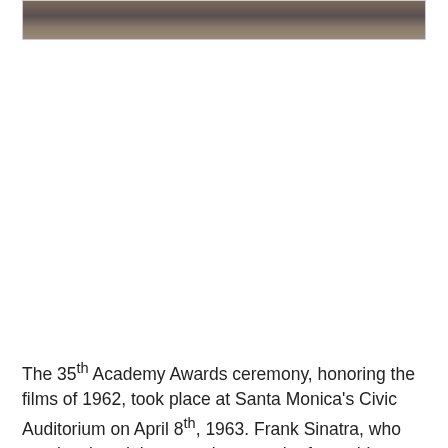[Figure (photo): Partial photograph visible at the top of the page, showing people at what appears to be an event or ceremony, cropped to show only the bottom portion of the image.]
The 35th Academy Awards ceremony, honoring the films of 1962, took place at Santa Monica's Civic Auditorium on April 8th, 1963. Frank Sinatra, who nearly missed the event because he forgot his parking pass, hosted the festivities. The big winner that evening was David Lean's epic